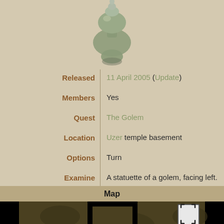[Figure (illustration): Top portion of a clay/stone golem statuette item icon, showing the upper body and head of a golem figure in muted green-grey tones against a tan background]
| Field | Value |
| --- | --- |
| Released | 11 April 2005 (Update) |
| Members | Yes |
| Quest | The Golem |
| Location | Uzer temple basement |
| Options | Turn |
| Examine | A statuette of a golem, facing left. |
Map
[Figure (map): Top-down game map showing a dungeon/temple area with dark brown tile floors with camouflage-pattern markings, black walls forming room shapes, and two bright green golem figures at the bottom center of the map. An expand icon is shown in the top-right corner of the map.]